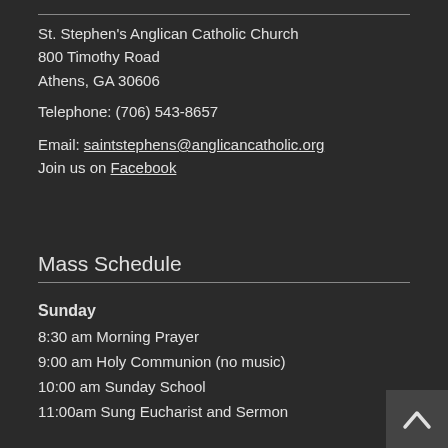St. Stephen's Anglican Catholic Church
800 Timothy Road
Athens, GA 30606

Telephone: (706) 543-8657

Email: saintstephens@anglicancatholic.org
Join us on Facebook
Mass Schedule
Sunday
8:30 am Morning Prayer
9:00 am Holy Communion (no music)
10:00 am Sunday School
11:00am Sung Eucharist and Sermon